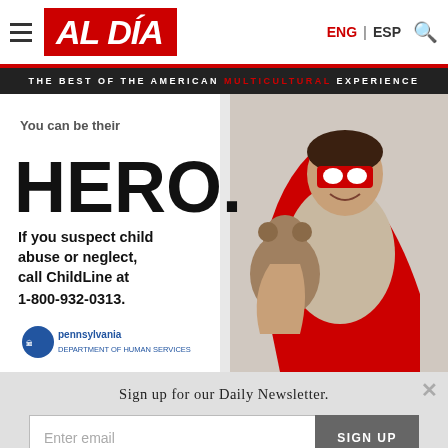AL DÍA
THE BEST OF THE AMERICAN MULTICULTURAL EXPERIENCE
[Figure (photo): Advertisement showing a child dressed as a superhero with red mask and cape, holding a teddy bear. Text reads: 'You can be their HERO. If you suspect child abuse or neglect, call ChildLine at 1-800-932-0313.' Pennsylvania Department of Human Services logo visible.]
Sign up for our Daily Newsletter.
Enter email
SIGN UP